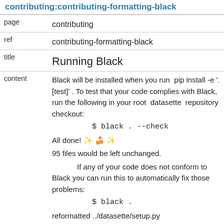contributing:contributing-formatting-black
| page | contributing |
| ref | contributing-formatting-black |
| title | Running Black |
| content | Black will be installed when you run  pip install -e '.[test]' . To test that your code complies with Black, run the following in your root  datasette  repository checkout:
$ black . --check
All done! ✨ 🍰 ✨
95 files would be left unchanged.
If any of your code does not conform to Black you can run this to automatically fix those problems:
$ black .
reformatted ../datasette/setup.py |